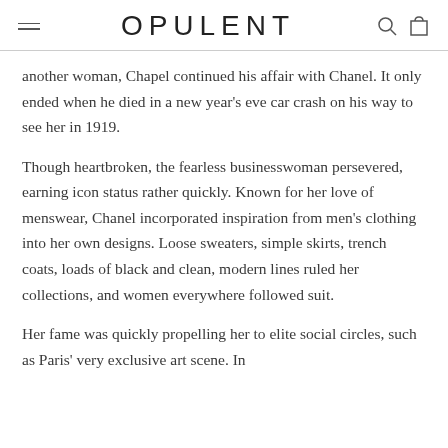OPULENT
another woman, Chapel continued his affair with Chanel. It only ended when he died in a new year's eve car crash on his way to see her in 1919.
Though heartbroken, the fearless businesswoman persevered, earning icon status rather quickly. Known for her love of menswear, Chanel incorporated inspiration from men's clothing into her own designs. Loose sweaters, simple skirts, trench coats, loads of black and clean, modern lines ruled her collections, and women everywhere followed suit.
Her fame was quickly propelling her to elite social circles, such as Paris' very exclusive art scene. In